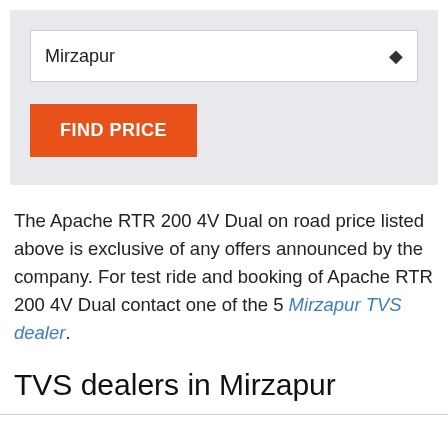[Figure (screenshot): A UI widget with a dropdown select box showing 'Mirzapur' and an orange 'FIND PRICE' button on a light gray background]
The Apache RTR 200 4V Dual on road price listed above is exclusive of any offers announced by the company. For test ride and booking of Apache RTR 200 4V Dual contact one of the 5 Mirzapur TVS dealer.
TVS dealers in Mirzapur